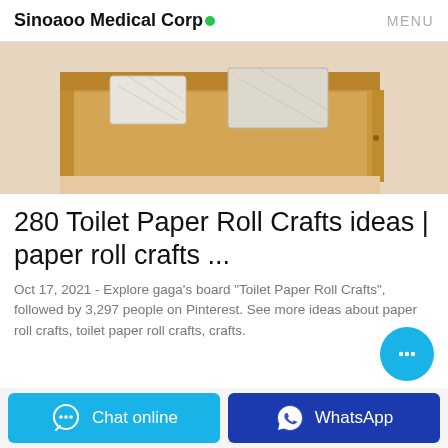Sinoaoo Medical Corp • MENU
[Figure (photo): Photo of a wooden headboard/shelf with a decorative pillow on a bed]
280 Toilet Paper Roll Crafts ideas | paper roll crafts ...
Oct 17, 2021 - Explore gaga's board "Toilet Paper Roll Crafts", followed by 3,297 people on Pinterest. See more ideas about paper roll crafts, toilet paper roll crafts, crafts.
Chat online
WhatsApp